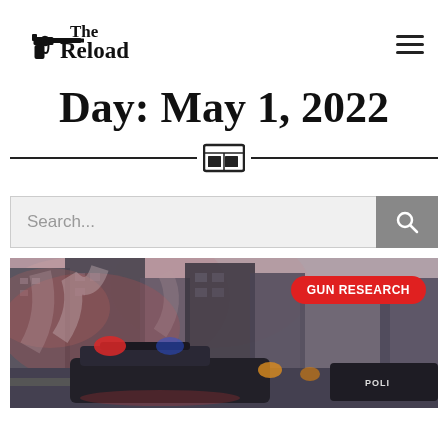The Reload
Day: May 1, 2022
[Figure (other): Newspaper/magazine icon as divider between two horizontal lines]
Search...
[Figure (photo): Street scene with police car lights and smoky atmosphere, red and blue emergency lights visible, with a GUN RESEARCH category badge in red]